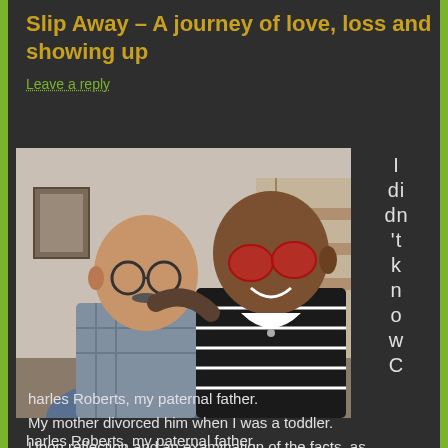Slip Away – A journey of love, loss and showing up
Leave a reply
[Figure (photo): Two men posing together indoors. On the left is an older man with glasses and a plaid shirt. On the right is a bald man wearing red-tinted sunglasses and a striped shirt, smiling broadly.]
I didn't know Charles Roberts, my paternal father.
My mother divorced him when I was a toddler.
Upon reflection and an examination of the facts, as